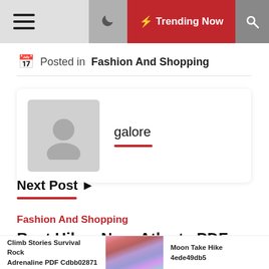≡   ☾  ⚡ Trending Now  🔍
📅  Posted in   Fashion And Shopping
galore
Next Post  ›
Fashion And Shopping
Best Hikes Near Atlanta PDF
Climb Stories Survival Rock Adrenaline PDF Cdbb02871   Moon Take Hike 4ede49db5